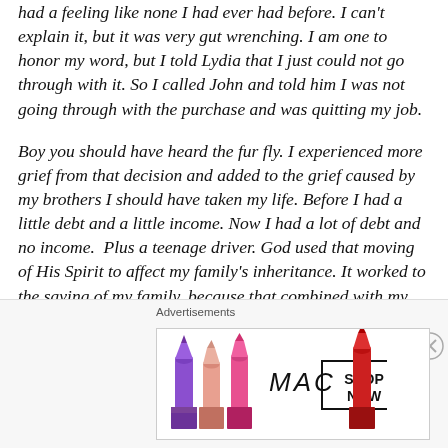had a feeling like none I had ever had before. I can't explain it, but it was very gut wrenching. I am one to honor my word, but I told Lydia that I just could not go through with it. So I called John and told him I was not going through with the purchase and was quitting my job.
Boy you should have heard the fur fly. I experienced more grief from that decision and added to the grief caused by my brothers I should have taken my life. Before I had a little debt and a little income. Now I had a lot of debt and no income.  Plus a teenage driver. God used that moving of His Spirit to affect my family's inheritance. It worked to the saving of my family, because that combined with my grandmother's death got my brothers back together. It
Advertisements
[Figure (photo): MAC cosmetics advertisement showing lipsticks in purple, peach, pink colors on the left, MAC logo in the center, and a 'SHOP NOW' button box on the right, with a red lipstick on the far right.]